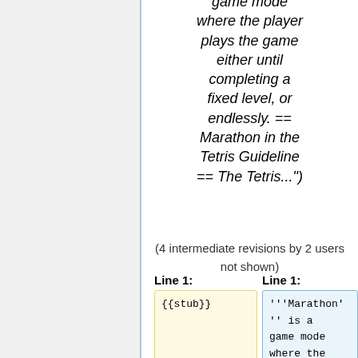game mode where the player plays the game either until completing a fixed level, or endlessly. == Marathon in the Tetris Guideline == The Tetris...")
(4 intermediate revisions by 2 users not shown)
Line 1:
Line 1:
{{stub}}
'''Marathon'' is a game mode where the player